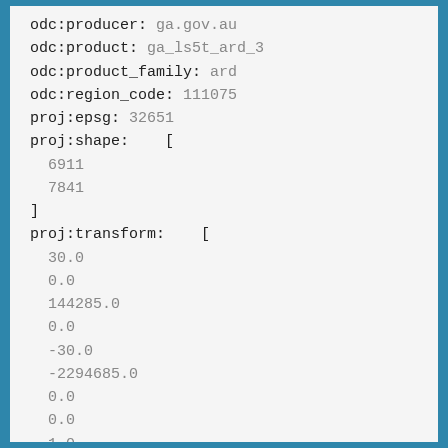odc:producer: ga.gov.au
odc:product: ga_ls5t_ard_3
odc:product_family: ard
odc:region_code: 111075
proj:epsg: 32651
proj:shape:    [
  6911
  7841
]
proj:transform:    [
  30.0
  0.0
  144285.0
  0.0
  -30.0
  -2294685.0
  0.0
  0.0
  1.0
]